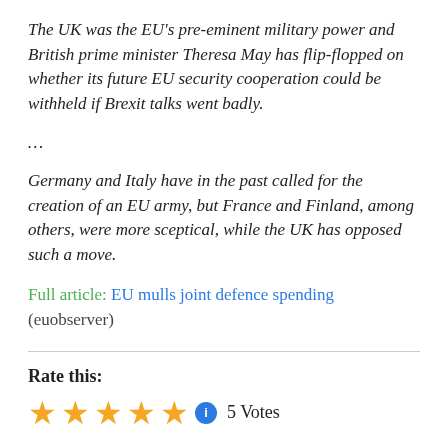The UK was the EU's pre-eminent military power and British prime minister Theresa May has flip-flopped on whether its future EU security cooperation could be withheld if Brexit talks went badly.
…
Germany and Italy have in the past called for the creation of an EU army, but France and Finland, among others, were more sceptical, while the UK has opposed such a move.
Full article: EU mulls joint defence spending (euobserver)
Rate this:
5 Votes